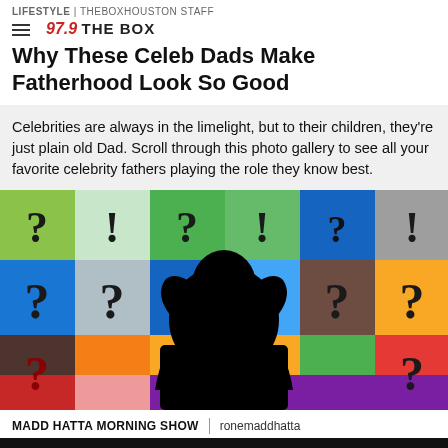LIFESTYLE | theboxhouston Staff
Why These Celeb Dads Make Fatherhood Look So Good
Celebrities are always in the limelight, but to their children, they're just plain old Dad. Scroll through this photo gallery to see all your favorite celebrity fathers playing the role they know best.
[Figure (photo): A silhouette of a person with hands behind head, sitting in front of a colorful grid of question marks on various colored tiles]
MADD HATTA MORNING SHOW | ronemaddhatta